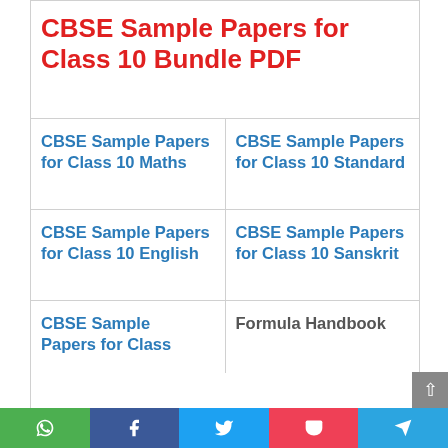CBSE Sample Papers for Class 10 Bundle PDF
| CBSE Sample Papers for Class 10 Maths | CBSE Sample Papers for Class 10 Standard |
| CBSE Sample Papers for Class 10 English | CBSE Sample Papers for Class 10 Sanskrit |
| CBSE Sample Papers for Class... | Formula Handbook |